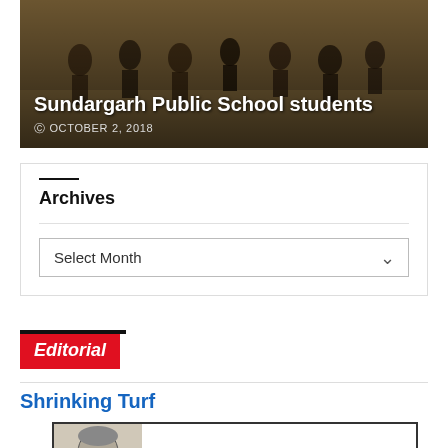[Figure (photo): Hero image of Sundargarh Public School students, dark background with figures visible]
Sundargarh Public School students
OCTOBER 2, 2018
Archives
Select Month
Editorial
Shrinking Turf
[Figure (illustration): Editorial illustration showing a portrait of a man on left and text BABUDOM on right, inside a bordered box]